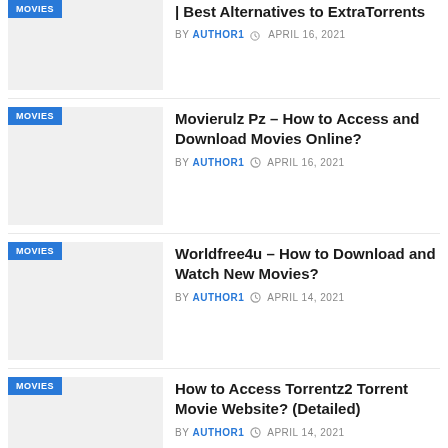[Figure (photo): Thumbnail image placeholder with MOVIES badge, partially cropped at top]
| Best Alternatives to ExtraTorrents
BY AUTHOR1  APRIL 16, 2021
[Figure (photo): Thumbnail image placeholder with MOVIES badge]
Movierulz Pz – How to Access and Download Movies Online?
BY AUTHOR1  APRIL 16, 2021
[Figure (photo): Thumbnail image placeholder with MOVIES badge]
Worldfree4u – How to Download and Watch New Movies?
BY AUTHOR1  APRIL 14, 2021
[Figure (photo): Thumbnail image placeholder with MOVIES badge]
How to Access Torrentz2 Torrent Movie Website? (Detailed)
BY AUTHOR1  APRIL 14, 2021